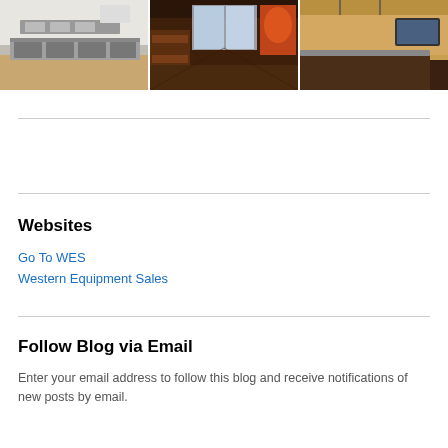[Figure (photo): Three restaurant/commercial kitchen photos side by side: left shows stainless steel kitchen equipment, center shows a dining area with booths and colorful mural, right shows a counter/bar area with pendant lights.]
Websites
Go To WES
Western Equipment Sales
Follow Blog via Email
Enter your email address to follow this blog and receive notifications of new posts by email.